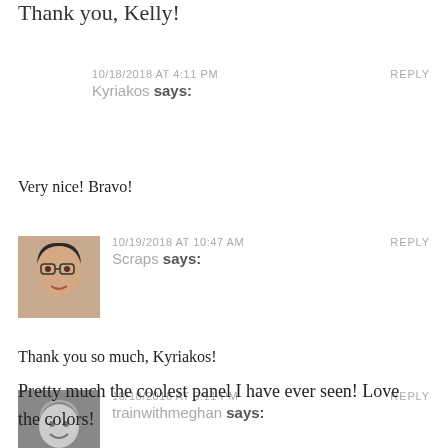Thank you, Kelly!
10/18/2018 AT 4:11 PM
Kyriakos says:
REPLY
Very nice! Bravo!
[Figure (photo): User avatar photo of Scraps — woman with glasses]
10/19/2018 AT 10:47 AM
Scraps says:
REPLY
Thank you so much, Kyriakos!
[Figure (photo): User avatar photo of trainwithmeghan — person with grey hair]
10/18/2018 AT 5:11 PM
trainwithmeghan says:
REPLY
Pretty much the coolest panel I have ever seen! Love the colors!